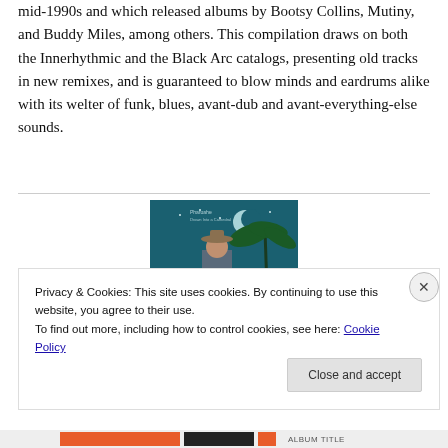mid-1990s and which released albums by Bootsy Collins, Mutiny, and Buddy Miles, among others. This compilation draws on both the Innerhythmic and the Black Arc catalogs, presenting old tracks in new remixes, and is guaranteed to blow minds and eardrums alike with its welter of funk, blues, avant-dub and avant-everything-else sounds.
[Figure (photo): Album cover image showing a person in a hat against a teal/blue night sky background with a crescent moon and palm tree]
Privacy & Cookies: This site uses cookies. By continuing to use this website, you agree to their use.
To find out more, including how to control cookies, see here: Cookie Policy
Close and accept